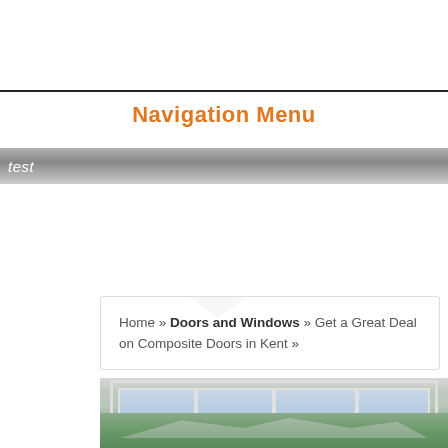[Figure (logo): F3 logo with orange F and black 3]
Navigation Menu
test
Home » Doors and Windows » Get a Great Deal on Composite Doors in Kent »
[Figure (photo): Window with view of mountains and green landscape]